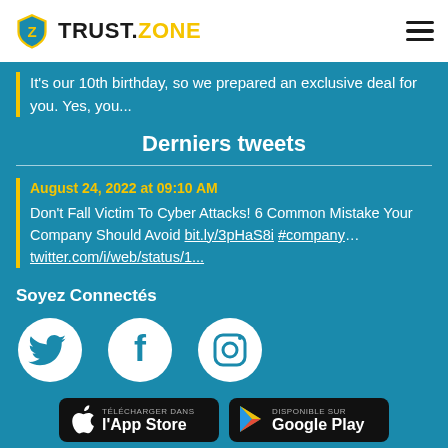TRUST.ZONE
It's our 10th birthday, so we prepared an exclusive deal for you. Yes, you...
Derniers tweets
August 24, 2022 at 09:10 AM
Don't Fall Victim To Cyber Attacks! 6 Common Mistake Your Company Should Avoid bit.ly/3pHaS8i #company… twitter.com/i/web/status/1...
Soyez Connectés
[Figure (logo): Twitter, Facebook, Instagram social media icons in white circles on teal background]
[Figure (screenshot): App Store download button (Télécharger dans l'App Store) and Google Play button (DISPONIBLE SUR Google Play) on black rounded rectangle backgrounds]
Trust.Zone © 2022